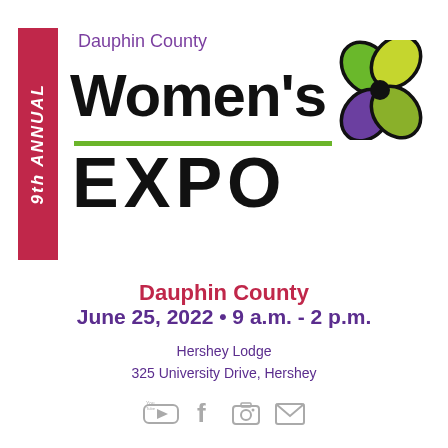[Figure (logo): 9th Annual Dauphin County Women's Expo logo with vertical red banner reading '9th ANNUAL', large bold 'Women's' and 'EXPO' text, purple 'Dauphin County' subtitle, green horizontal line, and four-petal flower graphic in green, yellow-green, and purple]
Dauphin County
June 25, 2022 • 9 a.m. - 2 p.m.
Hershey Lodge
325 University Drive, Hershey
[Figure (infographic): Social media icons: YouTube, Facebook, Instagram/camera, Email]